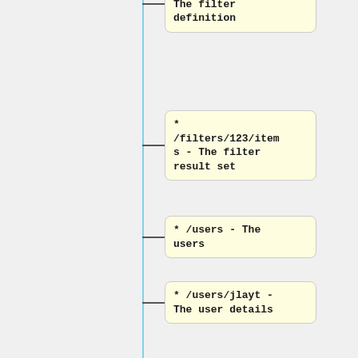[Figure (flowchart): A vertical flowchart/tree diagram showing API endpoint nodes connected by a vertical blue line with horizontal connectors. Nodes (yellow boxes with rounded corners) show API paths and descriptions: /filters/123 - The filter definition, /filters/123/items - The filter result set, /users - The users, /users/jlayt - The user details, /users/jlayt/filters - returns the the list of user filters, etc as per filters endpoint, /actors - The global actors]